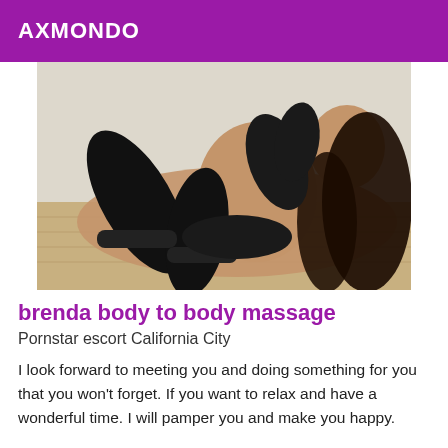AXMONDO
[Figure (photo): Woman posing on floor wearing black stockings and gloves]
brenda body to body massage
Pornstar escort California City
I look forward to meeting you and doing something for you that you won't forget. If you want to relax and have a wonderful time. I will pamper you and make you happy.